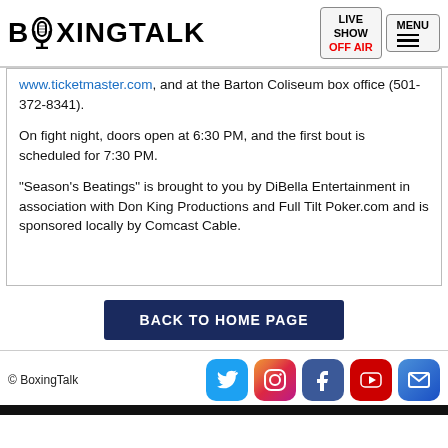BOXINGTALK — LIVE SHOW OFF AIR — MENU
www.ticketmaster.com, and at the Barton Coliseum box office (501-372-8341).
On fight night, doors open at 6:30 PM, and the first bout is scheduled for 7:30 PM.
“Season’s Beatings” is brought to you by DiBella Entertainment in association with Don King Productions and Full Tilt Poker.com and is sponsored locally by Comcast Cable.
BACK TO HOME PAGE
© BoxingTalk